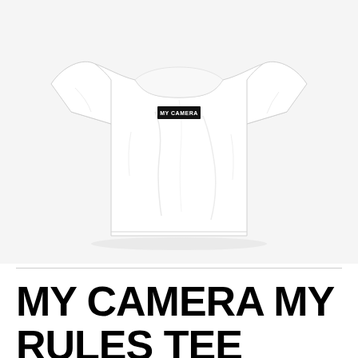[Figure (photo): A white short-sleeve t-shirt displayed flat against a light gray/white background. The shirt has a small black rectangular logo/graphic on the chest area near the collar.]
MY CAMERA MY RULES TEE MYCAMERAMYRULES